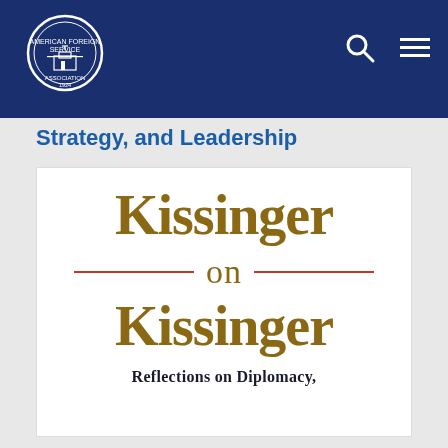[Figure (logo): American Foreign Service Association circular seal/logo in white on dark navy background]
Strategy, and Leadership
[Figure (photo): Book cover of 'Kissinger on Kissinger: Reflections on Diplomacy, Strategy, and Leadership' showing the title in gold serif font on white background with decorative red divider lines]